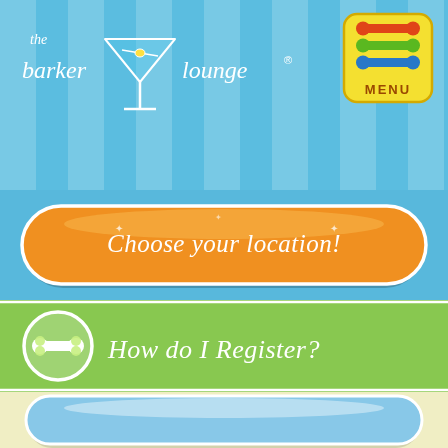[Figure (screenshot): The Barker Lounge app header with blue striped background and logo showing martini glass with dog bone]
[Figure (screenshot): Yellow square menu button with dog bones and MENU text]
[Figure (screenshot): Orange rounded button with text 'Choose your location!']
[Figure (screenshot): Green section with bone circle icon and text 'How do I Register?']
[Figure (screenshot): Light blue pill-shaped button on yellow background, empty/no text]